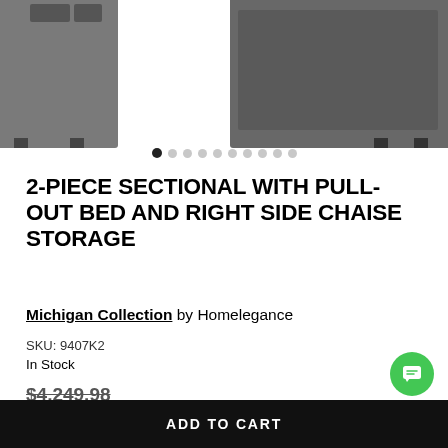FURNITURE & MATTRESS
[Figure (photo): Partial view of a dark grey 2-piece sectional sofa with chaise; product image with left and right fragments visible against white background. Below the image are 10 dot navigation indicators (first dot active/dark).]
2-PIECE SECTIONAL WITH PULL-OUT BED AND RIGHT SIDE CHAISE STORAGE
Michigan Collection by Homelegance
SKU: 9407K2
In Stock
$4,249.98
Super Value Price: $1,799.99
BE THE FIRST TO WRITE A REVIEW
ADD TO CART